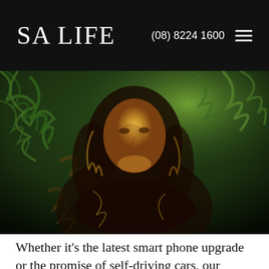SA LIFE  (08) 8224 1600
[Figure (illustration): AI neural style transfer image of the Mona Lisa with swirling Van Gogh-style brushstrokes overlaid on her figure and the background, creating a blended artistic effect]
Whether it's the latest smart phone upgrade or the promise of self-driving cars, our relationship with